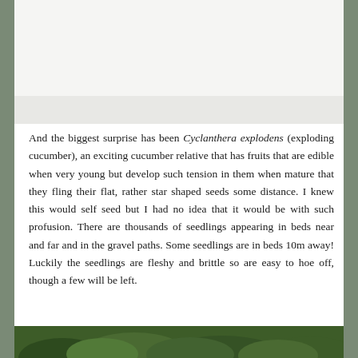[Figure (photo): Top portion of a photo, appears mostly white/light, likely showing plants or garden]
And the biggest surprise has been Cyclanthera explodens (exploding cucumber), an exciting cucumber relative that has fruits that are edible when very young but develop such tension in them when mature that they fling their flat, rather star shaped seeds some distance. I knew this would self seed but I had no idea that it would be with such profusion. There are thousands of seedlings appearing in beds near and far and in the gravel paths. Some seedlings are in beds 10m away! Luckily the seedlings are fleshy and brittle so are easy to hoe off, though a few will be left.
[Figure (photo): Bottom strip of a photo showing green foliage/plants in a garden]